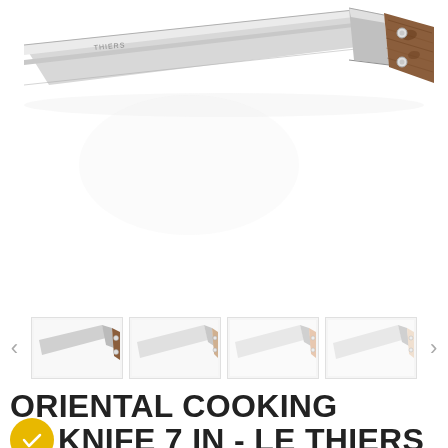[Figure (photo): A kitchen knife (Oriental cooking knife) with a stainless steel blade and wooden handle with two metal rivets, photographed diagonally on a white background.]
[Figure (photo): Thumbnail gallery row showing four small images of the same oriental cooking knife from different angles, with left and right navigation arrows.]
ORIENTAL COOKING KNIFE 7 IN - LE THIERS